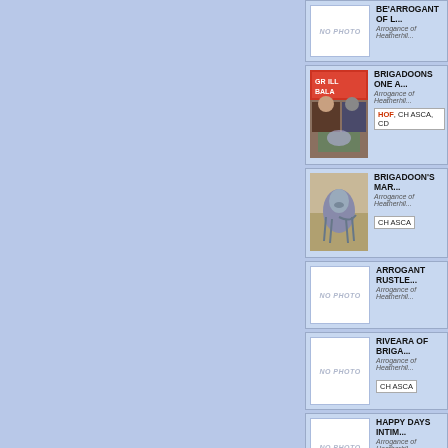[Figure (photo): No photo placeholder for BE'ARROGANT OF L...]
BE'ARROGANT OF L...
Arrogance of Heatherhil...
[Figure (photo): Dog show photo with two men and an Australian Shepherd, GRILL BALA banner visible]
BRIGADOONS ONE A...
Arrogance of Heatherhil...
HOF, CH ASCA, CD
[Figure (photo): Australian Shepherd dog standing outdoors]
BRIGADOON'S MAR...
Arrogance of Heatherhil...
CH ASCA
[Figure (photo): No photo placeholder for ARROGANT RUSTLE...]
ARROGANT RUSTLE...
Arrogance of Heatherhil...
[Figure (photo): No photo placeholder for RIVEARA OF BRIGA...]
RIVEARA OF BRIGA...
Arrogance of Heatherhil...
CH ASCA
[Figure (photo): No photo placeholder for HAPPY DAYS INTIM...]
HAPPY DAYS INTIM...
Arrogance of Heatherhil...